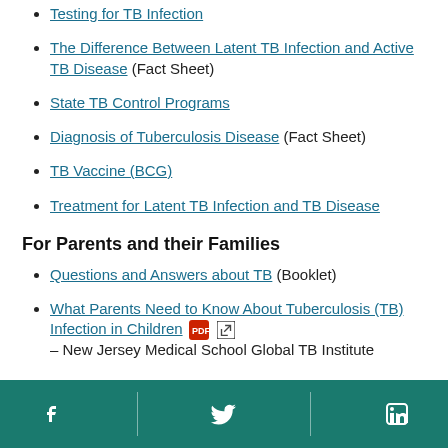Testing for TB Infection
The Difference Between Latent TB Infection and Active TB Disease (Fact Sheet)
State TB Control Programs
Diagnosis of Tuberculosis Disease (Fact Sheet)
TB Vaccine (BCG)
Treatment for Latent TB Infection and TB Disease
For Parents and their Families
Questions and Answers about TB (Booklet)
What Parents Need to Know About Tuberculosis (TB) Infection in Children – New Jersey Medical School Global TB Institute
Social media links: Facebook, Twitter, LinkedIn